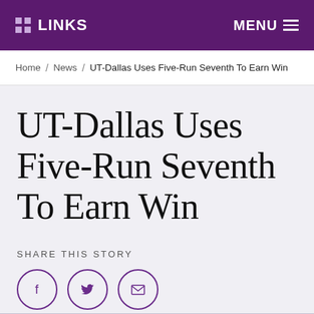LINKS | MENU
Home / News / UT-Dallas Uses Five-Run Seventh To Earn Win
UT-Dallas Uses Five-Run Seventh To Earn Win
SHARE THIS STORY
[Figure (other): Social share icons: Facebook, Twitter, Email — three purple circle outline buttons]